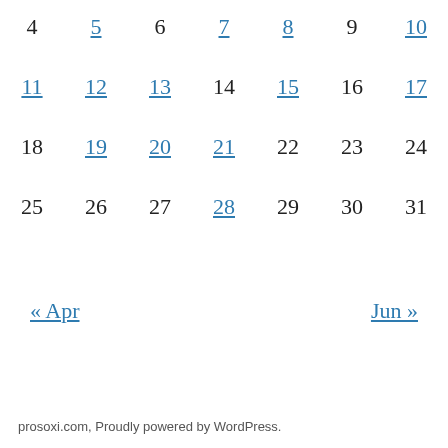| 4 | 5 | 6 | 7 | 8 | 9 | 10 |
| 11 | 12 | 13 | 14 | 15 | 16 | 17 |
| 18 | 19 | 20 | 21 | 22 | 23 | 24 |
| 25 | 26 | 27 | 28 | 29 | 30 | 31 |
« Apr    Jun »
prosoxi.com, Proudly powered by WordPress.